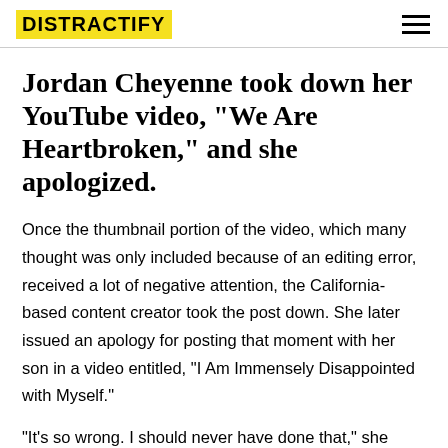DISTRACTIFY
Jordan Cheyenne took down her YouTube video, "We Are Heartbroken," and she apologized.
Once the thumbnail portion of the video, which many thought was only included because of an editing error, received a lot of negative attention, the California-based content creator took the post down. She later issued an apology for posting that moment with her son in a video entitled, "I Am Immensely Disappointed with Myself."
"It's so wrong. I should never have done that," she said, per Yahoo! She went on to say that she was "disgusted"